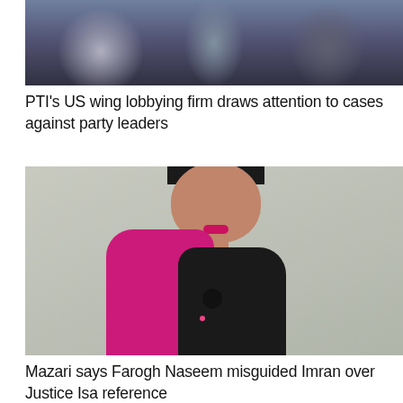[Figure (photo): Partial view of people/crowd in background, blurred.]
PTI's US wing lobbying firm draws attention to cases against party leaders
[Figure (photo): Photo of Shireen Mazari, a Pakistani politician with dark hair with purple highlights, wearing a magenta/pink jacket, speaking at a microphone. Background is a neutral grey.]
Mazari says Farogh Naseem misguided Imran over Justice Isa reference